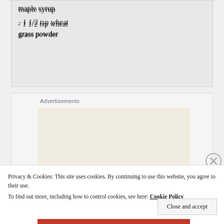maple syrup
- 1 1/2 tsp wheat grass powder
Advertisements
[Figure (illustration): Advertisement banner with text 'Professionally designed sites in less']
Privacy & Cookies: This site uses cookies. By continuing to use this website, you agree to their use.
To find out more, including how to control cookies, see here: Cookie Policy
Close and accept